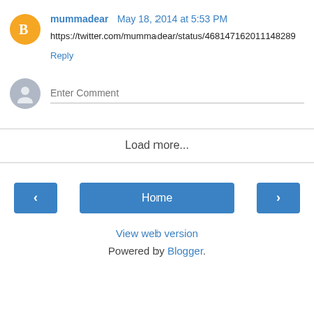mummadear  May 18, 2014 at 5:53 PM
https://twitter.com/mummadear/status/468147162011148289
Reply
Enter Comment
Load more...
Home
View web version
Powered by Blogger.